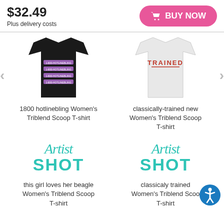$32.49
Plus delivery costs
BUY NOW
[Figure (photo): Black women's triblend scoop t-shirt with '1-800-HOTLINEBLING' text printed multiple times in pink/purple]
1800 hotlinebling Women's Triblend Scoop T-shirt
[Figure (photo): White women's triblend scoop t-shirt with 'TRAINED' text in red/orange]
classically-trained new Women's Triblend Scoop T-shirt
[Figure (logo): Artist Shot logo in teal/cyan color]
[Figure (logo): Artist Shot logo in teal/cyan color]
this girl loves her beagle Women's Triblend Scoop T-shirt
classicaly trained Women's Triblend Scoo T-shirt